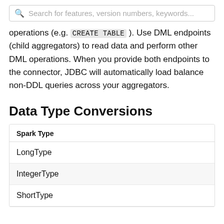Search for features, version numbers, keywords...
operations (e.g. CREATE TABLE ). Use DML endpoints (child aggregators) to read data and perform other DML operations. When you provide both endpoints to the connector, JDBC will automatically load balance non-DDL queries across your aggregators.
Data Type Conversions
| Spark Type |
| --- |
| LongType |
| IntegerType |
| ShortType |